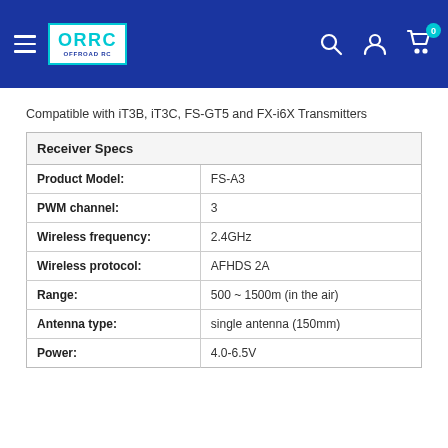ORRC OFFROAD RC — navigation header with search, account, and cart icons
Compatible with iT3B, iT3C, FS-GT5 and FX-i6X Transmitters
| Receiver Specs |  |
| --- | --- |
| Product Model: | FS-A3 |
| PWM channel: | 3 |
| Wireless frequency: | 2.4GHz |
| Wireless protocol: | AFHDS 2A |
| Range: | 500 ~ 1500m (in the air) |
| Antenna type: | single antenna (150mm) |
| Power: | 4.0-6.5V |